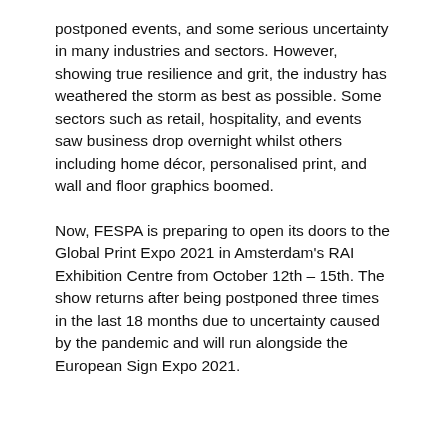postponed events, and some serious uncertainty in many industries and sectors. However, showing true resilience and grit, the industry has weathered the storm as best as possible. Some sectors such as retail, hospitality, and events saw business drop overnight whilst others including home décor, personalised print, and wall and floor graphics boomed.
Now, FESPA is preparing to open its doors to the Global Print Expo 2021 in Amsterdam's RAI Exhibition Centre from October 12th – 15th. The show returns after being postponed three times in the last 18 months due to uncertainty caused by the pandemic and will run alongside the European Sign Expo 2021.